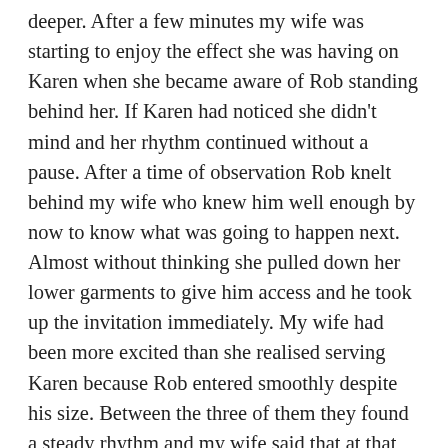deeper. After a few minutes my wife was starting to enjoy the effect she was having on Karen when she became aware of Rob standing behind her. If Karen had noticed she didn't mind and her rhythm continued without a pause. After a time of observation Rob knelt behind my wife who knew him well enough by now to know what was going to happen next. Almost without thinking she pulled down her lower garments to give him access and he took up the invitation immediately. My wife had been more excited than she realised serving Karen because Rob entered smoothly despite his size. Between the three of them they found a steady rhythm and my wife said that at that moment she was completely fulfilled sexually. She always enjoyed Rob inside her but especially when she was on all fours, and although she had not considered cunnilingus before, there was something about being a sexual servant that overrode any prior objections. The bottom line was she that she had never been so turned on before and it was like a firework going off in her body and brain at the same time. Rob and Karen were obviously completely aroused too and before long all three were exhausted